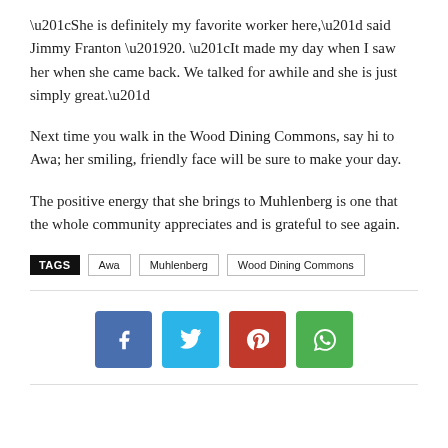“She is definitely my favorite worker here,” said Jimmy Franton ’20. “It made my day when I saw her when she came back. We talked for awhile and she is just simply great.”
Next time you walk in the Wood Dining Commons, say hi to Awa; her smiling, friendly face will be sure to make your day.
The positive energy that she brings to Muhlenberg is one that the whole community appreciates and is grateful to see again.
TAGS  Awa  Muhlenberg  Wood Dining Commons
[Figure (infographic): Social media sharing buttons: Facebook (blue), Twitter (light blue), Pinterest (red), WhatsApp (green)]